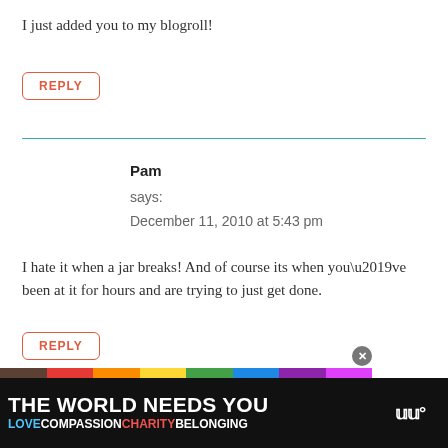I just added you to my blogroll!
REPLY
Pam
says:
December 11, 2010 at 5:43 pm
I hate it when a jar breaks! And of course its when you’ve been at it for hours and are trying to just get done.
REPLY
[Figure (infographic): Advertisement banner: rainbow colored bar with black background. Text reads 'THE WORLD NEEDS YOU' in white bold letters. Below: 'LOVE COMPASSION CHARITY BELONGING' in colored text. Close button X visible. Logo icon on right.]